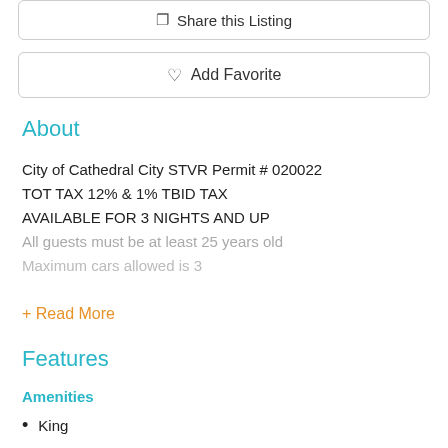Share this Listing
♡ Add Favorite
About
City of Cathedral City STVR Permit # 020022
TOT TAX 12% & 1% TBID TAX
AVAILABLE FOR 3 NIGHTS AND UP
All guests must be at least 25 years old
Maximum cars allowed is 3
+ Read More
Features
Amenities
King
shower
toilet
Dining
Games
Satellite / Cable